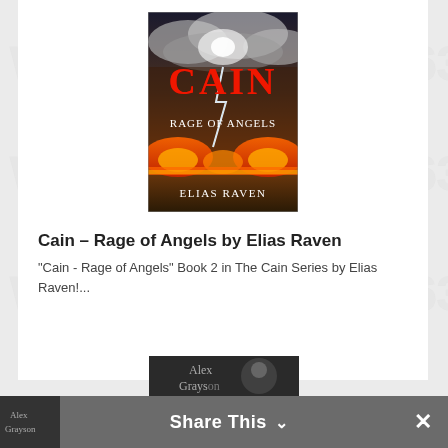[Figure (illustration): Book cover for 'Cain - Rage of Angels' by Elias Raven. Dark dramatic cover with large red text 'CAIN' at top, subtitle 'RAGE OF ANGELS' in the middle, stormy sky with lightning, and fiery explosions at bottom. Author name 'ELIAS RAVEN' at the bottom in white serif font.]
Cain – Rage of Angels by Elias Raven
"Cain - Rage of Angels" Book 2 in The Cain Series by Elias Raven!...
[Figure (photo): Partial view of another book cover at the bottom — appears to show a person, with text 'Alex Grayson' partially visible.]
Share This